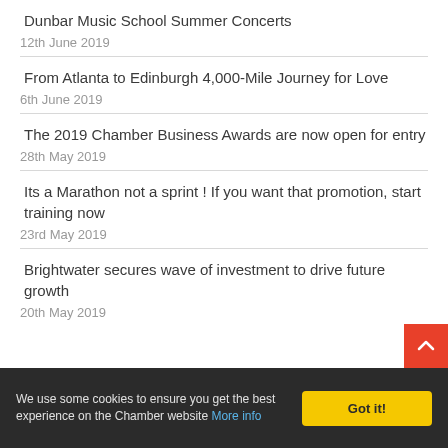Dunbar Music School Summer Concerts
12th June 2019
From Atlanta to Edinburgh 4,000-Mile Journey for Love
6th June 2019
The 2019 Chamber Business Awards are now open for entry
28th May 2019
Its a Marathon not a sprint ! If you want that promotion, start training now
23rd May 2019
Brightwater secures wave of investment to drive future growth
20th May 2019
We use some cookies to ensure you get the best experience on the Chamber website More info